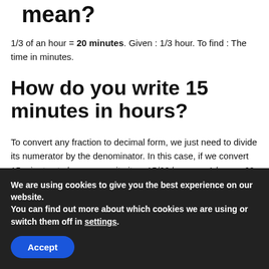mean?
1/3 of an hour = 20 minutes. Given : 1/3 hour. To find : The time in minutes.
How do you write 15 minutes in hours?
To convert any fraction to decimal form, we just need to divide its numerator by the denominator. In this case, if we convert 15 minutes to hours we write it as 15/60 because 1 hour = 60
We are using cookies to give you the best experience on our website.
You can find out more about which cookies we are using or switch them off in settings.
Accept